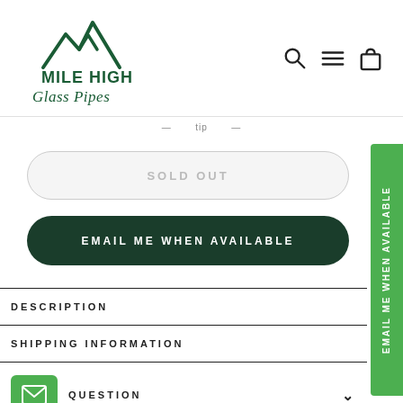[Figure (logo): Mile High Glass Pipes logo with mountain outline above text]
— tip —
SOLD OUT
EMAIL ME WHEN AVAILABLE
EMAIL ME WHEN AVAILABLE (side tab)
DESCRIPTION
SHIPPING INFORMATION
QUESTION